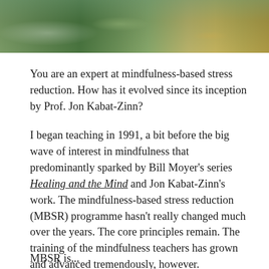[Figure (photo): Landscape photo showing a natural scene with water, green vegetation, and sandy/earthy tones along the right side]
You are an expert at mindfulness-based stress reduction. How has it evolved since its inception by Prof. Jon Kabat-Zinn?
I began teaching in 1991, a bit before the big wave of interest in mindfulness that predominantly sparked by Bill Moyer's series Healing and the Mind and Jon Kabat-Zinn's work. The mindfulness-based stress reduction (MBSR) programme hasn't really changed much over the years. The core principles remain. The training of the mindfulness teachers has grown and advanced tremendously, however.
MBSR is...